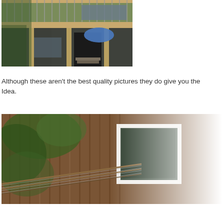[Figure (photo): Exterior photo of a wooden house or cabin with a deck/balcony on the upper level with metal railings, surrounded by trees. Lower level shows an entrance area with a blue umbrella visible. Wood posts support the upper deck.]
Although these aren't the best quality pictures they do give you the Idea.
[Figure (photo): Close-up exterior photo of a wooden cabin or house with vertical wood siding, a white-framed window or sliding door, green foliage/leaves in foreground, and metal cable railing. The right side of the image fades to white/light.]